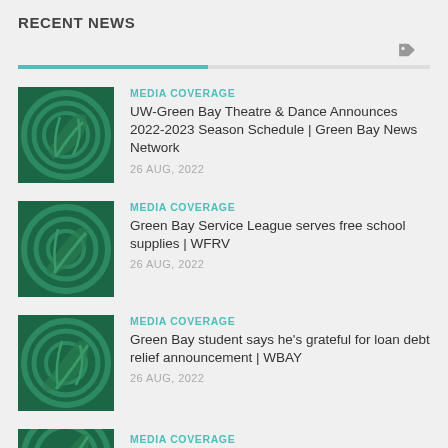RECENT NEWS
[Figure (infographic): Tag icon and progress bar filter UI element]
MEDIA COVERAGE
UW-Green Bay Theatre & Dance Announces 2022-2023 Season Schedule | Green Bay News Network
26 AUG, 2022
MEDIA COVERAGE
Green Bay Service League serves free school supplies | WFRV
26 AUG, 2022
MEDIA COVERAGE
Green Bay student says he's grateful for loan debt relief announcement | WBAY
26 AUG, 2022
MEDIA COVERAGE